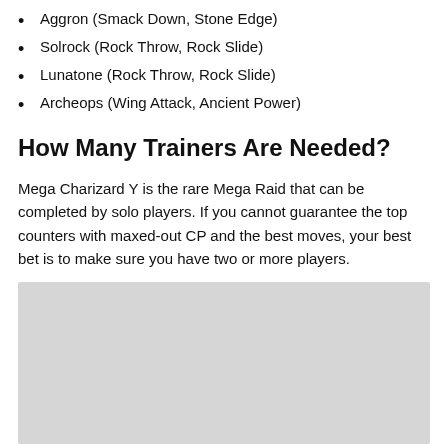Aggron (Smack Down, Stone Edge)
Solrock (Rock Throw, Rock Slide)
Lunatone (Rock Throw, Rock Slide)
Archeops (Wing Attack, Ancient Power)
How Many Trainers Are Needed?
Mega Charizard Y is the rare Mega Raid that can be completed by solo players. If you cannot guarantee the top counters with maxed-out CP and the best moves, your best bet is to make sure you have two or more players.
[Figure (other): Gray placeholder image area]